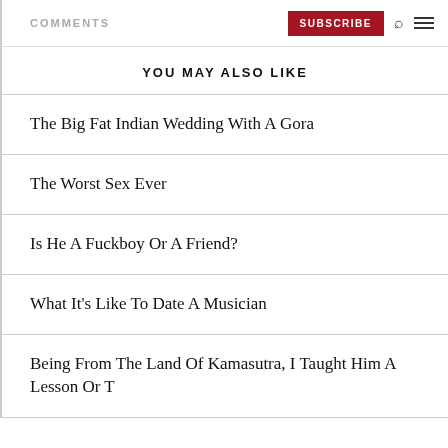COMMENTS | SUBSCRIBE
YOU MAY ALSO LIKE
The Big Fat Indian Wedding With A Gora
The Worst Sex Ever
Is He A Fuckboy Or A Friend?
What It's Like To Date A Musician
Being From The Land Of Kamasutra, I Taught Him A Lesson Or T...